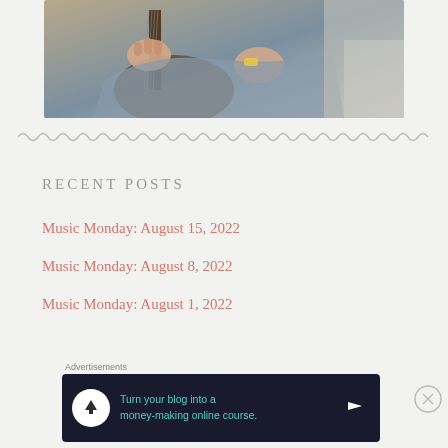[Figure (photo): Person playing an electric guitar, wearing a light blue shirt and yellow bracelet, close-up of hands on guitar neck and body]
RECENT POSTS
Music Monday: August 15, 2022
Music Monday: August 8, 2022
Music Monday: August 1, 2022
Advertisements
[Figure (screenshot): Advertisement banner: Turn your blog into a money-making online course.]